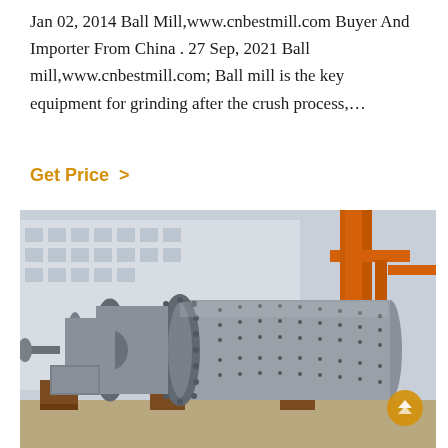Jan 02, 2014 Ball Mill,www.cnbestmill.com Buyer And Importer From China . 27 Sep, 2021 Ball mill,www.cnbestmill.com; Ball mill is the key equipment for grinding after the crush process,…
Get Price >
[Figure (photo): Industrial ball mill equipment — a large grey cylindrical grinding mill with motor and drive assembly, mounted on wooden supports in an outdoor industrial yard with a building and orange crane structure in the background.]